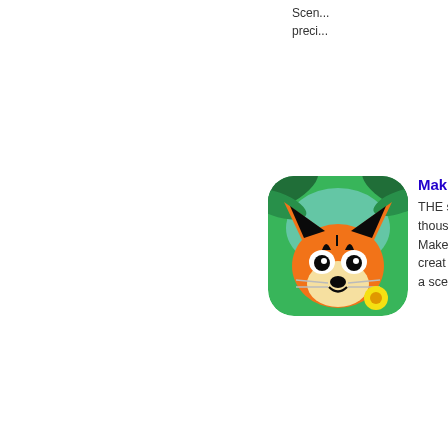Scen... preci...
[Figure (illustration): App icon: cartoon tiger face with jungle background, rounded square]
Mak... THE s... thous... Make... creat... a sce...
[Figure (illustration): App icon: cartoon tiger face with jungle background and LITE badge, rounded square]
Mak... ******* AND ... childr... give t... yours... quiet.
[Figure (illustration): App icon: dark background with green swirl and face, rounded square]
Mak... THE...